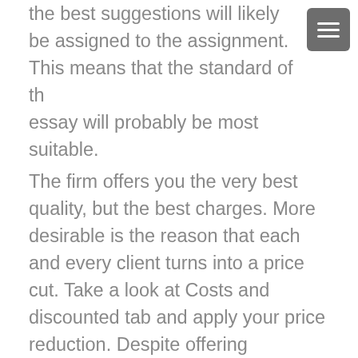the best suggestions will likely be assigned to the assignment. This means that the standard of the essay will probably be most suitable.
The firm offers you the very best quality, but the best charges. More desirable is the reason that each and every client turns into a price cut. Take a look at Costs and discounted tab and apply your price reduction. Despite offering discounts, the firm supplies the highest quality. Every essay is especially put together just for a customer who requested it. It must be completely unique so there must be zero plagiarism. The organization assertions which every customer should be completely completely satisfied. In the event that he isn't, he can inquire an entire dollars repayment. Depending on the company's phrases, a customer certainly not demanded the full money repayment